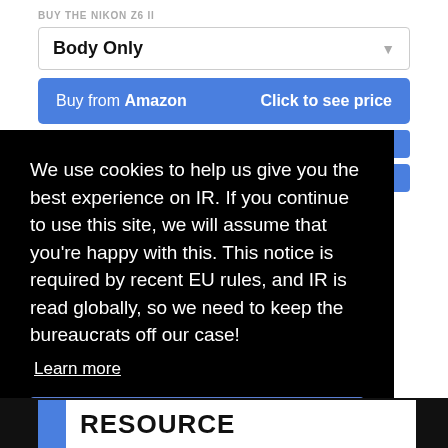BUY THE NIKON Z6 II
[Figure (screenshot): Dropdown selector showing 'Body Only' with a downward arrow]
[Figure (screenshot): Blue button: 'Buy from Amazon   Click to see price']
We use cookies to help us give you the best experience on IR. If you continue to use this site, we will assume that you're happy with this. This notice is required by recent EU rules, and IR is read globally, so we need to keep the bureaucrats off our case!
Learn more
[Figure (screenshot): Blue 'Got it!' button]
RESOURCE